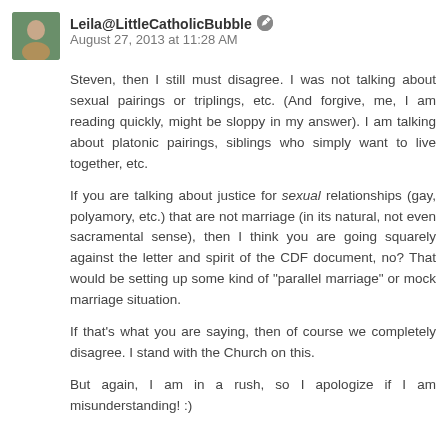Leila@LittleCatholicBubble August 27, 2013 at 11:28 AM
Steven, then I still must disagree. I was not talking about sexual pairings or triplings, etc. (And forgive, me, I am reading quickly, might be sloppy in my answer). I am talking about platonic pairings, siblings who simply want to live together, etc.
If you are talking about justice for sexual relationships (gay, polyamory, etc.) that are not marriage (in its natural, not even sacramental sense), then I think you are going squarely against the letter and spirit of the CDF document, no? That would be setting up some kind of "parallel marriage" or mock marriage situation.
If that's what you are saying, then of course we completely disagree. I stand with the Church on this.
But again, I am in a rush, so I apologize if I am misunderstanding! :)